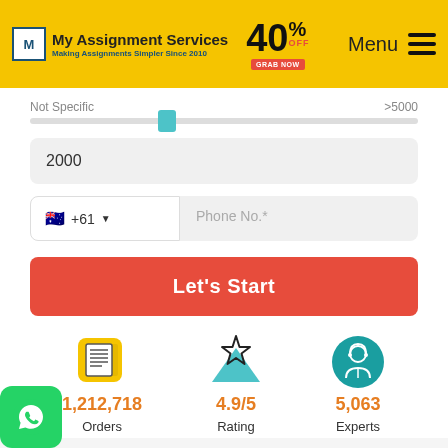[Figure (screenshot): My Assignment Services website header with logo, 40% OFF discount badge, and hamburger menu]
Not Specific    >5000
2000
+61   Phone No.*
Let's Start
[Figure (infographic): Three stat icons: orders document icon (yellow), rating star icon with teal triangle, experts person icon (teal circle)]
1,212,718 Orders
4.9/5 Rating
5,063 Experts